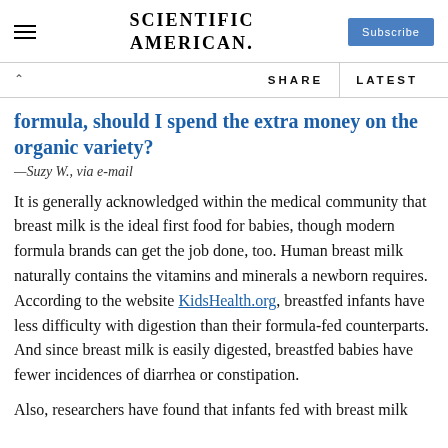SCIENTIFIC AMERICAN.
formula, should I spend the extra money on the organic variety?
—Suzy W., via e-mail
It is generally acknowledged within the medical community that breast milk is the ideal first food for babies, though modern formula brands can get the job done, too. Human breast milk naturally contains the vitamins and minerals a newborn requires. According to the website KidsHealth.org, breastfed infants have less difficulty with digestion than their formula-fed counterparts. And since breast milk is easily digested, breastfed babies have fewer incidences of diarrhea or constipation.
Also, researchers have found that infants fed with breast milk...